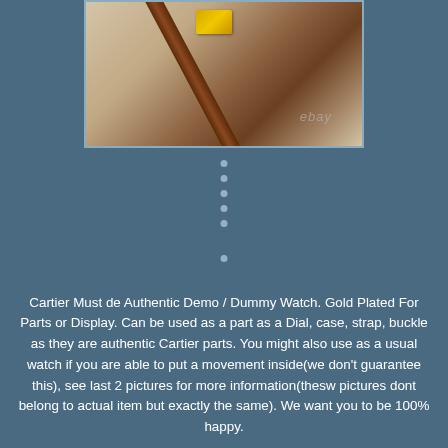[Figure (photo): Cartier Must de watch with brown leather strap and gold-plated rectangular case, shown on a light surface with ebay watermark]
Cartier Must de Authentic Demo / Dummy Watch. Gold Plated For Parts or Display. Can be used as a part as a Dial, case, strap, buckle as they are authentic Cartier parts. You might also use as a usual watch if you are able to put a movement inside(we don't guarantee this), see last 2 pictures for more information(thesw pictures dont belong to actual item but exactly the same). We want you to be 100% happy.